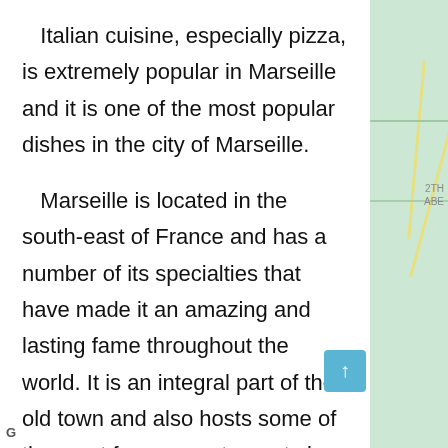Italian cuisine, especially pizza, is extremely popular in Marseille and it is one of the most popular dishes in the city of Marseille.
Marseille is located in the south-east of France and has a number of its specialties that have made it an amazing and lasting fame throughout the world. It is an integral part of the old town and also hosts some of the most famous restaurants in Europe, such as the famous Boulud restaurant. No trip to the city would be complete without a
[Figure (map): Partial map view visible on the right side of the page, showing street grid with road lines on a light green background.]